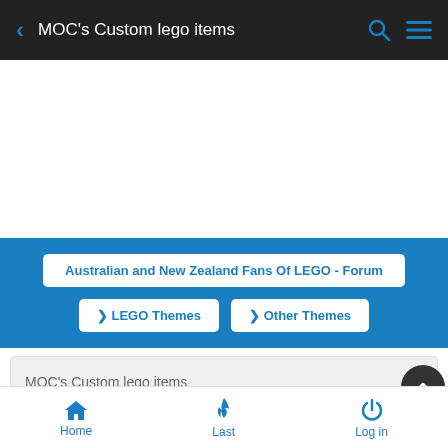MOC's Custom lego items
[Figure (screenshot): White empty content area (ad placeholder)]
Australian and New Zealand Fans Of LEGO - Forum
> LEGO Themes
> Other Themes
MOC's Custom lego items
[Figure (photo): Row of user avatar circles partially visible]
Home  Last  Log in